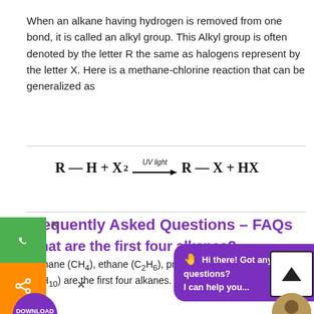When an alkane having hydrogen is removed from one bond, it is called an alkyl group. This Alkyl group is often denoted by the letter R the same as halogens represent by the letter X. Here is a methane-chlorine reaction that can be generalized as
Frequently Asked Questions – FAQs
What are the first four alkanes?
Methane (CH4), ethane (C2H6), propane (C3H8) and butane (C4H10) are the first four alkanes. Methane gas, whose